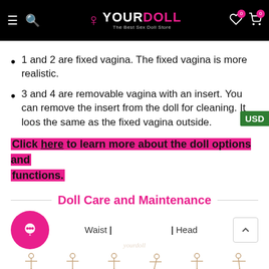YOURDOLL – The Best Sex Doll Store
1 and 2 are fixed vagina. The fixed vagina is more realistic.
3 and 4 are removable vagina with an insert. You can remove the insert from the doll for cleaning. It looks the same as the fixed vagina outside.
Click here to learn more about the doll options and functions.
Doll Care and Maintenance
[Figure (illustration): Doll care and maintenance diagram showing waist and head labels with skeleton figure illustrations and a chat button circle]